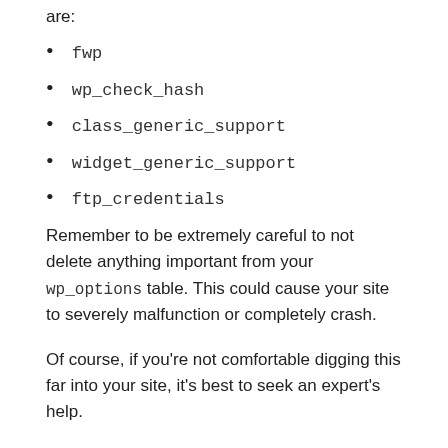are:
fwp
wp_check_hash
class_generic_support
widget_generic_support
ftp_credentials
Remember to be extremely careful to not delete anything important from your wp_options table. This could cause your site to severely malfunction or completely crash.
Of course, if you're not comfortable digging this far into your site, it's best to seek an expert's help.
6. Find and Remove Code That's